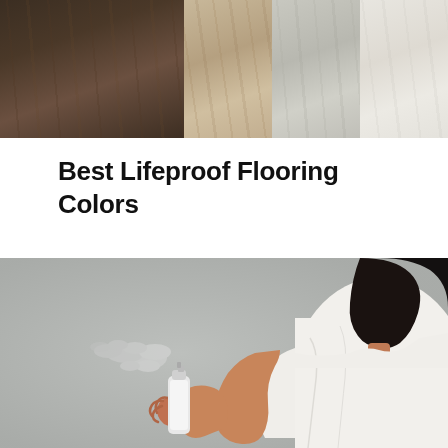[Figure (photo): Four flooring color swatches arranged side by side: dark walnut/espresso wood on the left (widest), followed by a medium beige/tan wood, a light gray-taupe wood, and a very light/white wood on the right.]
Best Lifeproof Flooring Colors
[Figure (photo): A woman in a white t-shirt holding and using a white spray can against a gray background. Spray mist is visible emanating from the nozzle.]